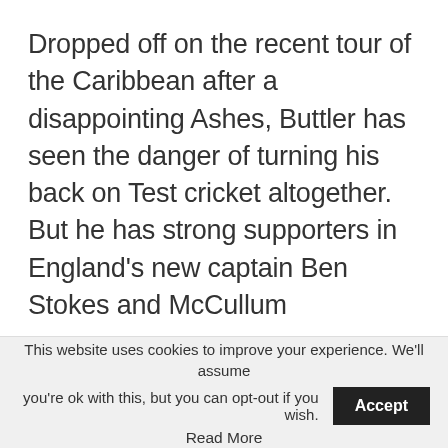Dropped off on the recent tour of the Caribbean after a disappointing Ashes, Buttler has seen the danger of turning his back on Test cricket altogether. But he has strong supporters in England's new captain Ben Stokes and McCullum
This website uses cookies to improve your experience. We'll assume you're ok with this, but you can opt-out if you wish. Accept
Read More